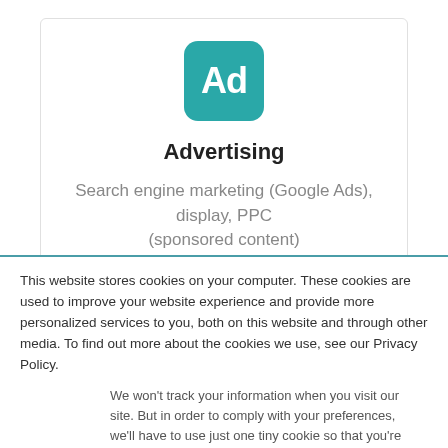[Figure (logo): Teal rounded square icon with white bold 'Ad' text, representing an advertising logo]
Advertising
Search engine marketing (Google Ads), display, PPC (sponsored content)
This website stores cookies on your computer. These cookies are used to improve your website experience and provide more personalized services to you, both on this website and through other media. To find out more about the cookies we use, see our Privacy Policy.
We won't track your information when you visit our site. But in order to comply with your preferences, we'll have to use just one tiny cookie so that you're not asked to make this choice again.